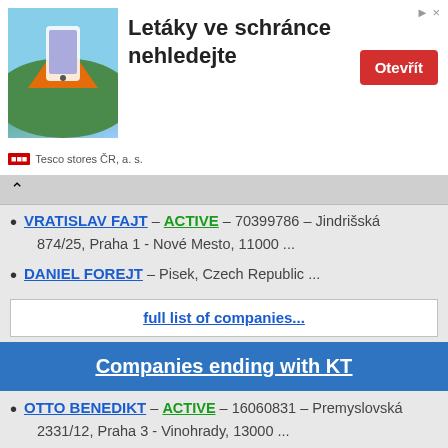[Figure (infographic): Advertisement banner: Tesco stores ČR, a. s. — 'Letáky ve schránce nehledejte' with Otevřít button]
VRATISLAV FAJT – ACTIVE – 70399786 – Jindrišská 874/25, Praha 1 - Nové Mesto, 11000 ...
DANIEL FOREJT – Pisek, Czech Republic ...
full list of companies...
Companies ending with KT
OTTO BENEDIKT – ACTIVE – 16060831 – Premyslovská 2331/12, Praha 3 - Vinohrady, 13000 ...
ING. OLDRICH REC - RECPROJEKT – Hradec Kralove,